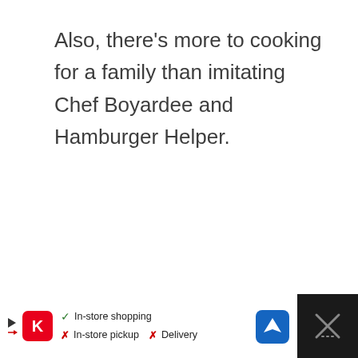Also, there’s more to cooking for a family than imitating Chef Boyardee and Hamburger Helper.
Reply
MAYA
AUGUST 26, 2015 AT 8:44 PM
[Figure (screenshot): Advertisement bar at bottom showing Kroger store with in-store shopping, in-store pickup and delivery options, navigation icon, and close button on dark background]